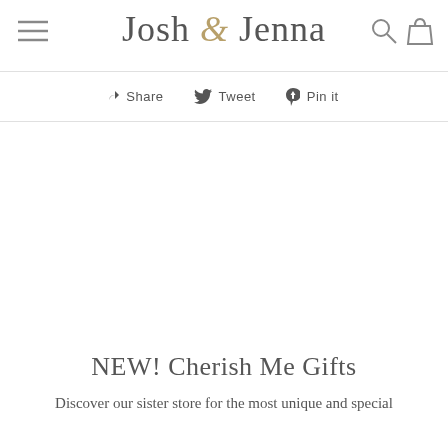Josh & Jenna
Share  Tweet  Pin it
NEW! Cherish Me Gifts
Discover our sister store for the most unique and special